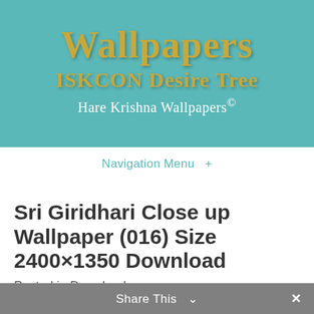[Figure (screenshot): Teal/turquoise header banner with 'Wallpapers', 'ISKCON Desire Tree', and 'Hare Krishna Wallpapers©' text in gold and white]
Navigation Menu +
Sri Giridhari Close up Wallpaper (016) Size 2400×1350 Download
Posted in Downloads
Share This ∨  ×